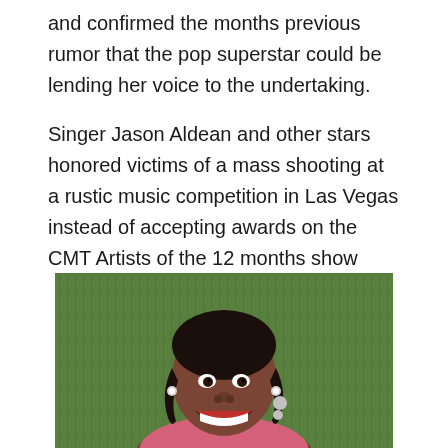and confirmed the months previous rumor that the pop superstar could be lending her voice to the undertaking.
Singer Jason Aldean and other stars honored victims of a mass shooting at a rustic music competition in Las Vegas instead of accepting awards on the CMT Artists of the 12 months show Wednesday evening. The singer's lengthy-awaited sixth album arrived simply before midnight Thursday and naturally, it's been all the excitement. The newest sexual assault allegations in opposition to Harvey Weinstein may outcome in the first legal fees towards the movie mogul.
[Figure (photo): A young smiling girl with braided hair, wearing a pink top, photographed outdoors on a green grass background.]